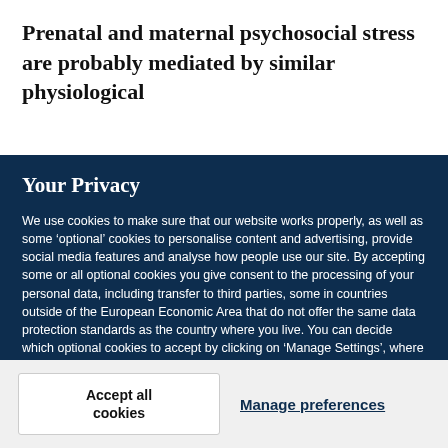Prenatal and maternal psychosocial stress are probably mediated by similar physiological
Your Privacy
We use cookies to make sure that our website works properly, as well as some ‘optional’ cookies to personalise content and advertising, provide social media features and analyse how people use our site. By accepting some or all optional cookies you give consent to the processing of your personal data, including transfer to third parties, some in countries outside of the European Economic Area that do not offer the same data protection standards as the country where you live. You can decide which optional cookies to accept by clicking on ‘Manage Settings’, where you can also find more information about how your personal data is processed. Further information can be found in our privacy policy.
Accept all cookies
Manage preferences